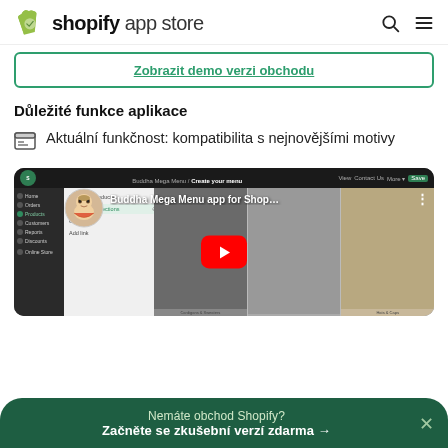shopify app store
Zobrazit demo verzi obchodu
Důležité funkce aplikace
Aktuální funkčnost: kompatibilita s nejnovějšími motivy
[Figure (screenshot): YouTube video thumbnail showing Buddha Mega Menu app for Shopify with a Buddha avatar icon, menu interface on the left, product images of clothing on the right, and a red YouTube play button in the center.]
Nemáte obchod Shopify? Začněte se zkušební verzí zdarma →